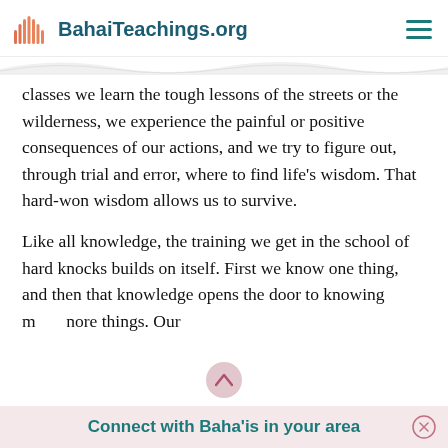BahaiTeachings.org
classes we learn the tough lessons of the streets or the wilderness, we experience the painful or positive consequences of our actions, and we try to figure out, through trial and error, where to find life’s wisdom. That hard-won wisdom allows us to survive.
Like all knowledge, the training we get in the school of hard knocks builds on itself. First we know one thing, and then that knowledge opens the door to knowing more things. Our
Connect with Baha’is in your area